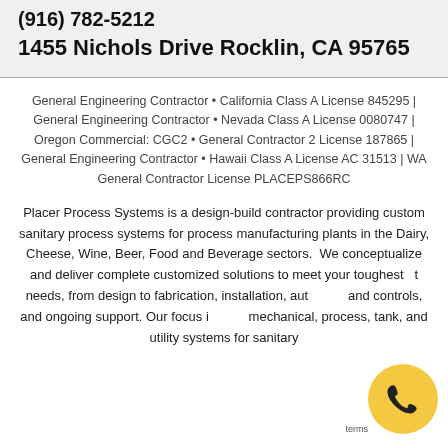(916) 782-5212
1455 Nichols Drive Rocklin, CA 95765
General Engineering Contractor • California Class A License 845295 | General Engineering Contractor • Nevada Class A License 0080747 | Oregon Commercial: CGC2 • General Contractor 2 License 187865 | General Engineering Contractor • Hawaii Class A License AC 31513 | WA General Contractor License PLACEPS866RC
Placer Process Systems is a design-build contractor providing custom sanitary process systems for process manufacturing plants in the Dairy, Cheese, Wine, Beer, Food and Beverage sectors.  We conceptualize and deliver complete customized solutions to meet your toughest needs, from design to fabrication, installation, automation and controls, and ongoing support. Our focus is mechanical, process, tank, and utility systems for sanitary